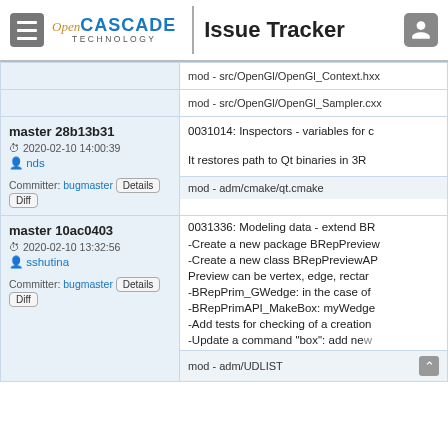Open CASCADE TECHNOLOGY | Issue Tracker
| Commit | Description/Files |
| --- | --- |
|  | mod - src/OpenGl/OpenGl_Context.hxx |
|  | mod - src/OpenGl/OpenGl_Sampler.cxx |
| master 28b13b31
2020-02-10 14:00:39
nds
Committer: bugmaster | 0031014: Inspectors - variables for ...
It restores path to Qt binaries in 3R...
mod - adm/cmake/qt.cmake |
| master 10ac0403
2020-02-10 13:32:56
sshutina
Committer: bugmaster | 0031336: Modeling data - extend BR...
-Create a new package BRepPreview...
-Create a new class BRepPreviewAP...
Preview can be vertex, edge, rectar...
-BRepPrim_GWedge: in the case of ...
-BRepPrimAPI_MakeBox: myWedge...
-Add tests for checking of a creation...
-Update a command "box": add ne...
mod - adm/UDLIST |